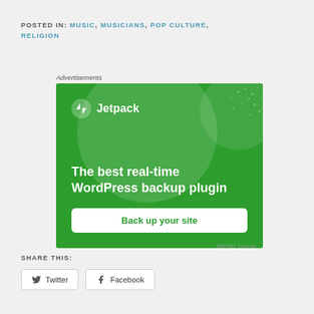POSTED IN: MUSIC, MUSICIANS, POP CULTURE, RELIGION
Advertisements
[Figure (illustration): Jetpack WordPress plugin advertisement banner. Green background with circular decorative shapes and dot patterns. Shows Jetpack logo (lightning bolt icon) at top left with text 'The best real-time WordPress backup plugin' and a white button 'Back up your site'. A small 'REPORT THIS AD' link appears at bottom right.]
SHARE THIS:
Twitter
Facebook